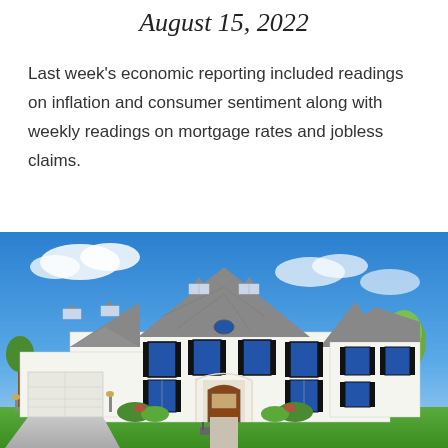August 15, 2022
Last week's economic reporting included readings on inflation and consumer sentiment along with weekly readings on mortgage rates and jobless claims.
[Figure (photo): Large two-story white colonial-style house with black shutters, dormer windows, gray roof, attached garage, front lawn, blue sky with clouds in background]